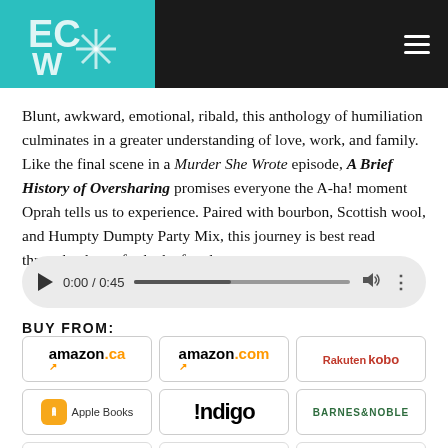ECW (logo) navigation header
Blunt, awkward, emotional, ribald, this anthology of humiliation culminates in a greater understanding of love, work, and family. Like the final scene in a Murder She Wrote episode, A Brief History of Oversharing promises everyone the A-ha! moment Oprah tells us to experience. Paired with bourbon, Scottish wool, and Humpty Dumpty Party Mix, this journey is best read through a lens of schadenfreude.
[Figure (other): Audio player widget showing 0:00 / 0:45 with play button, progress bar, volume and options controls]
BUY FROM:
[Figure (other): Grid of retailer logos: amazon.ca, amazon.com, Rakuten kobo, Apple Books, Indigo, Barnes & Noble, and partially visible logos in bottom row]